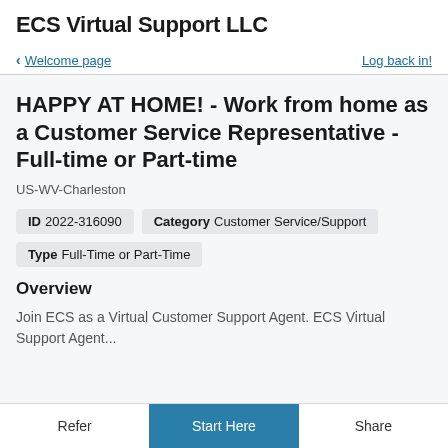ECS Virtual Support LLC
< Welcome page    Log back in!
HAPPY AT HOME! - Work from home as a Customer Service Representative - Full-time or Part-time
US-WV-Charleston
ID 2022-316090   Category Customer Service/Support
Type Full-Time or Part-Time
Overview
Join ECS as a Virtual Customer Support Agent. ECS Virtual Support Agent...
Refer   Start Here   Share